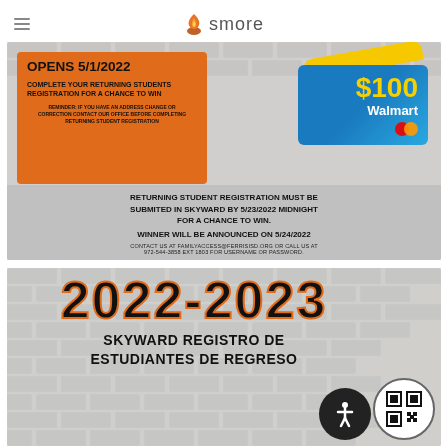smore
[Figure (infographic): Returning student registration promo image. Opens 5/1/2022. Complete your returning students registration for a chance to win $100 Walmart gift card. Returning student registration must be submitted in Skyward by 5/23/2022 midnight for a chance to win. Winner will be announced on 5/24/2022. Contact us at familyaccess@ferrisisd.org or call us at 972-544-3858 ext 1803 for username or password.]
[Figure (infographic): 2022-2023 Skyward Registro de Estudiantes de Regreso banner image with QR code and accessibility button.]